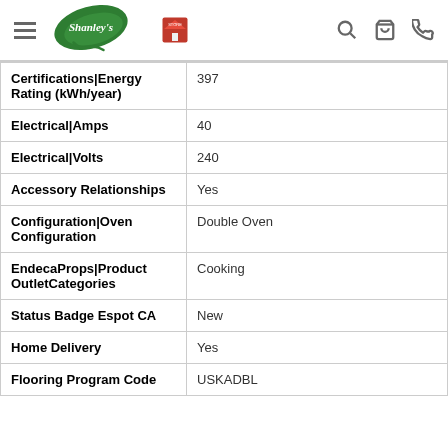Shanley's — navigation header
| Attribute | Value |
| --- | --- |
| Certifications|Energy Rating (kWh/year) | 397 |
| Electrical|Amps | 40 |
| Electrical|Volts | 240 |
| Accessory Relationships | Yes |
| Configuration|Oven Configuration | Double Oven |
| EndecaProps|Product OutletCategories | Cooking |
| Status Badge Espot CA | New |
| Home Delivery | Yes |
| Flooring Program Code | USKADBL |